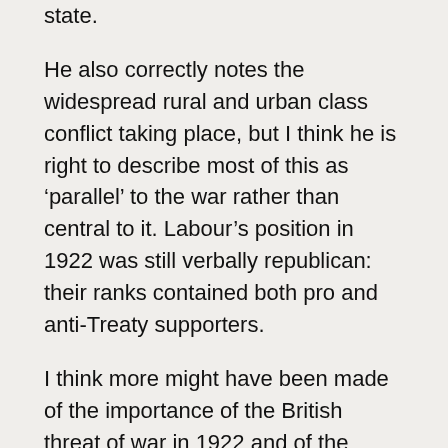state.
He also correctly notes the widespread rural and urban class conflict taking place, but I think he is right to describe most of this as ‘parallel’ to the war rather than central to it. Labour’s position in 1922 was still verbally republican: their ranks contained both pro and anti-Treaty supporters.
I think more might have been made of the importance of the British threat of war in 1922 and of the Catholic Church’s condemnation of the republicans. Perhaps the success of the government’s executions policy has been overplayed also: it may be that the shootings stiffened republican resistance in some areas and they certainly contributed to the maintenance of an Anti-Treaty tradition. We still lack a complete list of Civil War dead and the figure given for IRA fatalities